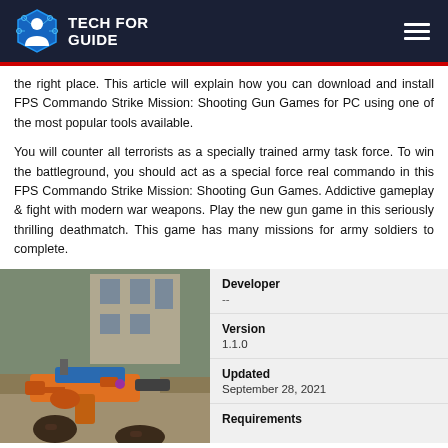TECH FOR GUIDE
the right place. This article will explain how you can download and install FPS Commando Strike Mission: Shooting Gun Games for PC using one of the most popular tools available.
You will counter all terrorists as a specially trained army task force. To win the battleground, you should act as a special force real commando in this FPS Commando Strike Mission: Shooting Gun Games. Addictive gameplay & fight with modern war weapons. Play the new gun game in this seriously thrilling deathmatch. This game has many missions for army soldiers to complete.
[Figure (photo): First-person view of a player holding an orange and blue futuristic assault rifle in a game environment]
| Developer | -- |
| Version | 1.1.0 |
| Updated | September 28, 2021 |
| Requirements |  |